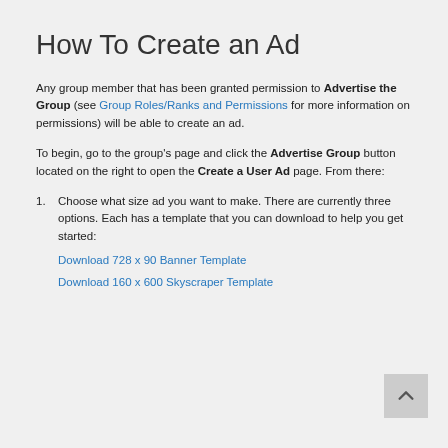How To Create an Ad
Any group member that has been granted permission to Advertise the Group (see Group Roles/Ranks and Permissions for more information on permissions) will be able to create an ad.
To begin, go to the group's page and click the Advertise Group button located on the right to open the Create a User Ad page. From there:
Choose what size ad you want to make. There are currently three options. Each has a template that you can download to help you get started:
Download 728 x 90 Banner Template
Download 160 x 600 Skyscraper Template